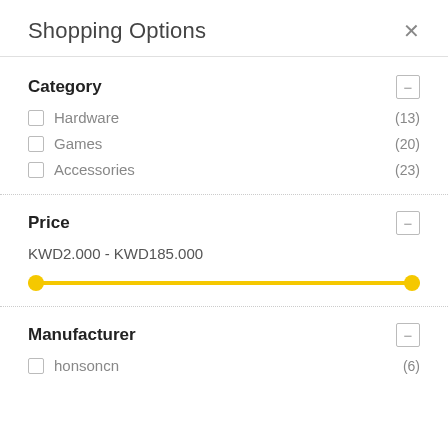Shopping Options
Category
Hardware (13)
Games (20)
Accessories (23)
Price
KWD2.000 - KWD185.000
[Figure (other): Price range slider from KWD2.000 to KWD185.000 with yellow track and two circular handles at each end]
Manufacturer
honsoncn (6)